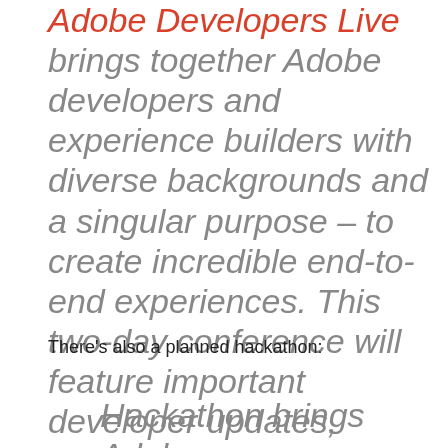Adobe Developers Live brings together Adobe developers and experience builders with diverse backgrounds and a singular purpose – to create incredible end-to-end experiences. This two-day conference will feature important developer updates, technical sessions and community networking opportunities.
There's also a planned hackathon:
Hackathon brings Adobe